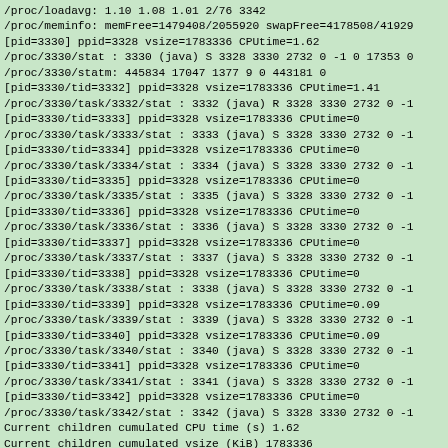/proc/loadavg: 1.10 1.08 1.01 2/76 3342
/proc/meminfo: memFree=1479408/2055920 swapFree=4178508/41929
[pid=3330] ppid=3328 vsize=1783336 CPUtime=1.62
/proc/3330/stat : 3330 (java) S 3328 3330 2732 0 -1 0 17353 0
/proc/3330/statm: 445834 17047 1377 9 0 443181 0
[pid=3330/tid=3332] ppid=3328 vsize=1783336 CPUtime=1.41
/proc/3330/task/3332/stat : 3332 (java) R 3328 3330 2732 0 -1
[pid=3330/tid=3333] ppid=3328 vsize=1783336 CPUtime=0
/proc/3330/task/3333/stat : 3333 (java) S 3328 3330 2732 0 -1
[pid=3330/tid=3334] ppid=3328 vsize=1783336 CPUtime=0
/proc/3330/task/3334/stat : 3334 (java) S 3328 3330 2732 0 -1
[pid=3330/tid=3335] ppid=3328 vsize=1783336 CPUtime=0
/proc/3330/task/3335/stat : 3335 (java) S 3328 3330 2732 0 -1
[pid=3330/tid=3336] ppid=3328 vsize=1783336 CPUtime=0
/proc/3330/task/3336/stat : 3336 (java) S 3328 3330 2732 0 -1
[pid=3330/tid=3337] ppid=3328 vsize=1783336 CPUtime=0
/proc/3330/task/3337/stat : 3337 (java) S 3328 3330 2732 0 -1
[pid=3330/tid=3338] ppid=3328 vsize=1783336 CPUtime=0
/proc/3330/task/3338/stat : 3338 (java) S 3328 3330 2732 0 -1
[pid=3330/tid=3339] ppid=3328 vsize=1783336 CPUtime=0.09
/proc/3330/task/3339/stat : 3339 (java) S 3328 3330 2732 0 -1
[pid=3330/tid=3340] ppid=3328 vsize=1783336 CPUtime=0.09
/proc/3330/task/3340/stat : 3340 (java) S 3328 3330 2732 0 -1
[pid=3330/tid=3341] ppid=3328 vsize=1783336 CPUtime=0
/proc/3330/task/3341/stat : 3341 (java) S 3328 3330 2732 0 -1
[pid=3330/tid=3342] ppid=3328 vsize=1783336 CPUtime=0
/proc/3330/task/3342/stat : 3342 (java) S 3328 3330 2732 0 -1
Current children cumulated CPU time (s) 1.62
Current children cumulated vsize (KiB) 1783336

[startup+3.10239 s]
/proc/loadavg: 1.10 1.08 1.01 2/76 3342